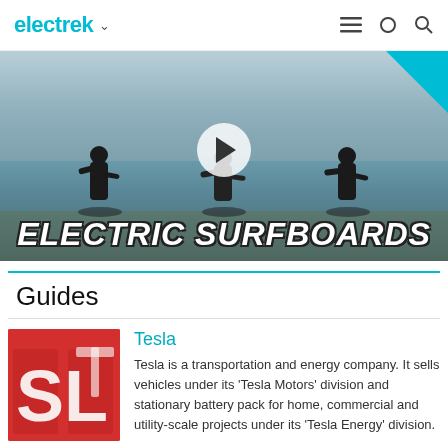electrek
[Figure (screenshot): Video thumbnail showing three people with electric surfboards standing in water, with white bold italic text 'ELECTRIC SURFBOARDS' overlaid at the bottom, a play button in the center, and a teal corner accent top right.]
Guides
[Figure (photo): Red background with white Tesla logo letters 'SL' partially visible, close-up brand image.]
Tesla
Tesla is a transportation and energy company. It sells vehicles under its 'Tesla Motors' division and stationary battery pack for home, commercial and utility-scale projects under its 'Tesla Energy' division.